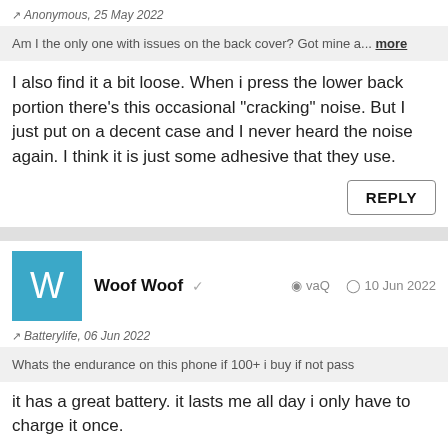↗ Anonymous, 25 May 2022
Am I the only one with issues on the back cover? Got mine a... more
I also find it a bit loose. When i press the lower back portion there's this occasional "cracking" noise. But I just put on a decent case and I never heard the noise again. I think it is just some adhesive that they use.
REPLY
Woof Woof  vaQ  10 Jun 2022
↗ Batterylife, 06 Jun 2022
Whats the endurance on this phone if 100+ i buy if not pass
it has a great battery. it lasts me all day i only have to charge it once.